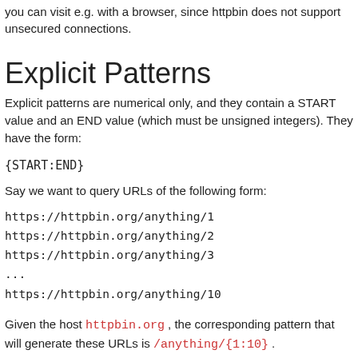you can visit e.g. with a browser, since httpbin does not support unsecured connections.
Explicit Patterns
Explicit patterns are numerical only, and they contain a START value and an END value (which must be unsigned integers). They have the form:
Say we want to query URLs of the following form:
https://httpbin.org/anything/1
https://httpbin.org/anything/2
https://httpbin.org/anything/3
...
https://httpbin.org/anything/10
Given the host httpbin.org , the corresponding pattern that will generate these URLs is /anything/{1:10} .